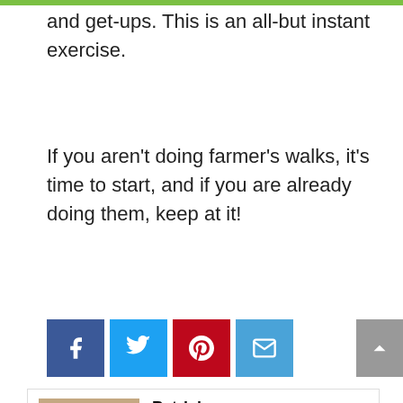and get-ups. This is an all-but instant exercise.
If you aren't doing farmer's walks, it's time to start, and if you are already doing them, keep at it!
[Figure (other): Social share buttons: Facebook, Twitter, Pinterest, Email]
[Figure (other): Scroll to top button]
[Figure (photo): Author photo of Patrick Dale, a man in dark clothing holding a pink ball outdoors]
Patrick
Patrick Dale is an ex-British Royal Marine and owner and lecturer for a fitness qualifications company. In addition to